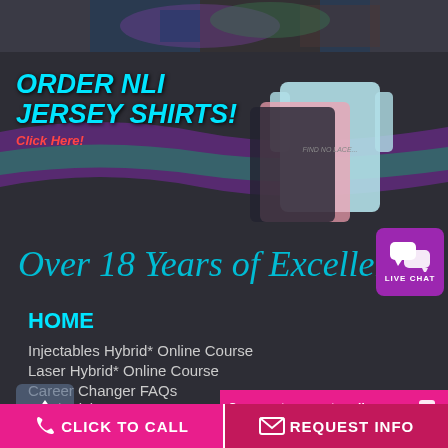[Figure (photo): Top cropped image strip showing colorful clothing/fabric]
[Figure (photo): NLI Jersey Shirts promotional banner with t-shirts image and purple/teal wave design]
ORDER NLI JERSEY SHIRTS!
Click Here!
Over 18 Years of Excellence
[Figure (illustration): Purple Live Chat button with chat bubbles icon]
HOME
Injectables Hybrid* Online Course
Laser Hybrid* Online Course
Career Changer FAQs
Aesthetician FAQs
Medical Professional FAQs
Our agents are not avail...
CLICK TO CALL    REQUEST INFO